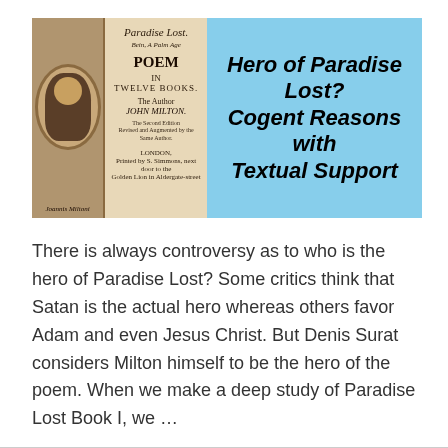[Figure (illustration): Banner image showing an old book cover of Paradise Lost by John Milton alongside a portrait, on a light blue background with bold italic title text 'Hero of Paradise Lost? Cogent Reasons with Textual Support']
There is always controversy as to who is the hero of Paradise Lost? Some critics think that Satan is the actual hero whereas others favor Adam and even Jesus Christ. But Denis Surat considers Milton himself to be the hero of the poem. When we make a deep study of Paradise Lost Book I, we …
Read More »